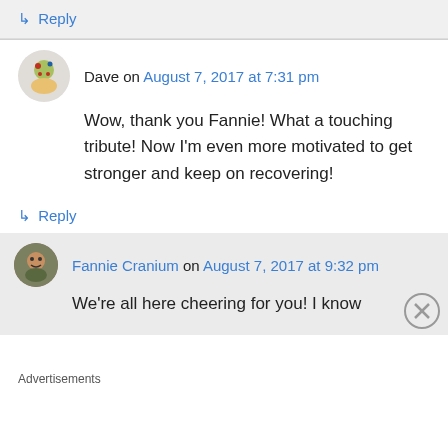↳ Reply
Dave on August 7, 2017 at 7:31 pm
Wow, thank you Fannie! What a touching tribute! Now I'm even more motivated to get stronger and keep on recovering!
↳ Reply
Fannie Cranium on August 7, 2017 at 9:32 pm
We're all here cheering for you! I know
Advertisements